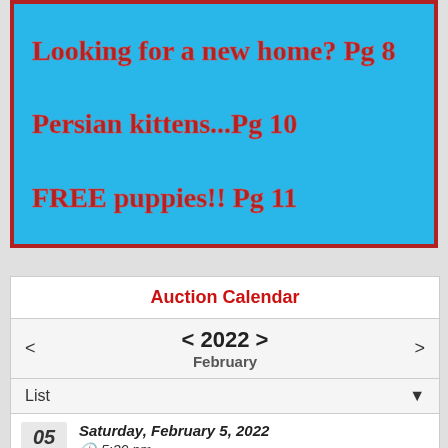[Figure (illustration): Blue promotional box with red border showing pet listings: 'Looking for a new home? Pg 8', 'Persian kittens...Pg 10', 'FREE puppies!! Pg 11']
Auction Calendar
< 2022 > February
List
Saturday, February 5, 2022
5:30 pm